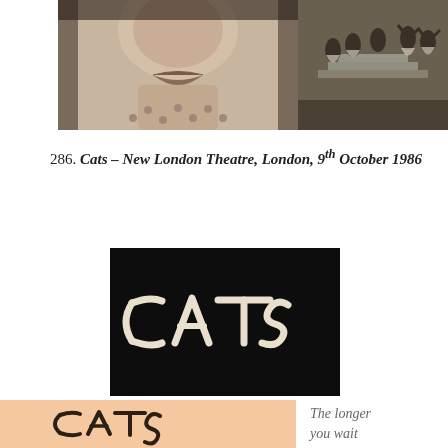[Figure (photo): Close-up black and white photo showing the lower face/mouth of a person, with patterned clothing visible]
[Figure (photo): Black and white photo of a theatrical stage performance with performers in period costumes on stairs]
286. Cats – New London Theatre, London, 9th October 1986
[Figure (photo): Photo of the Cats musical programme/cover with white hand-lettered CATS text on black background]
[Figure (photo): Partial view of Cats programme on peach/salmon coloured background with CATS text visible]
The longer you wait